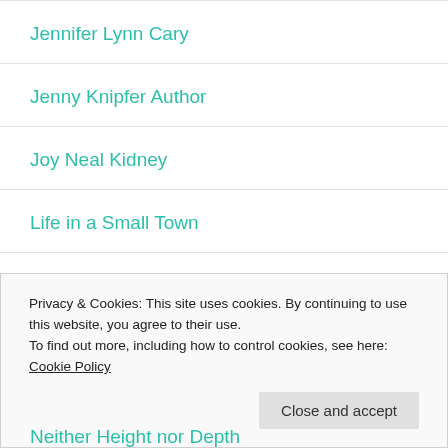Jennifer Lynn Cary
Jenny Knipfer Author
Joy Neal Kidney
Life in a Small Town
Lunch Break Fiction
Privacy & Cookies: This site uses cookies. By continuing to use this website, you agree to their use.
To find out more, including how to control cookies, see here: Cookie Policy
Neither Height nor Depth